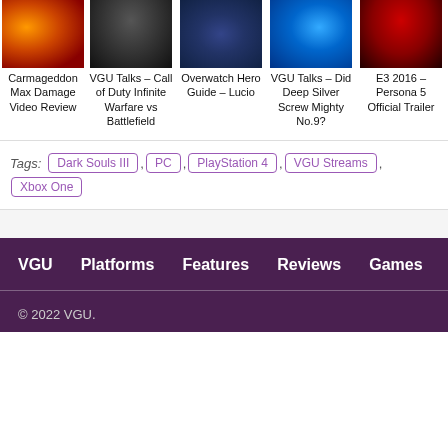[Figure (illustration): Row of 5 game thumbnail images: Carmageddon Max Damage, VGU Talks Call of Duty, Overwatch Lucio, VGU Talks Mighty No.9, E3 2016 Persona 5]
Carmageddon Max Damage Video Review
VGU Talks – Call of Duty Infinite Warfare vs Battlefield
Overwatch Hero Guide – Lucio
VGU Talks – Did Deep Silver Screw Mighty No.9?
E3 2016 – Persona 5 Official Trailer
Tags: Dark Souls III , PC , PlayStation 4 , VGU Streams , Xbox One
VGU   Platforms   Features   Reviews   Games
© 2022 VGU.